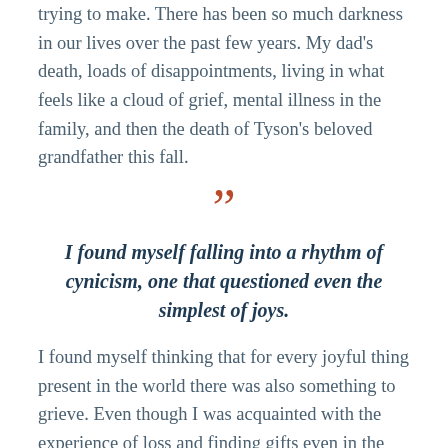trying to make. There has been so much darkness in our lives over the past few years. My dad's death, loads of disappointments, living in what feels like a cloud of grief, mental illness in the family, and then the death of Tyson's beloved grandfather this fall.
”
I found myself falling into a rhythm of cynicism, one that questioned even the simplest of joys.
I found myself thinking that for every joyful thing present in the world there was also something to grieve. Even though I was acquainted with the experience of loss and finding gifts even in the darkness, I doubted the actual, honest-to-goodness